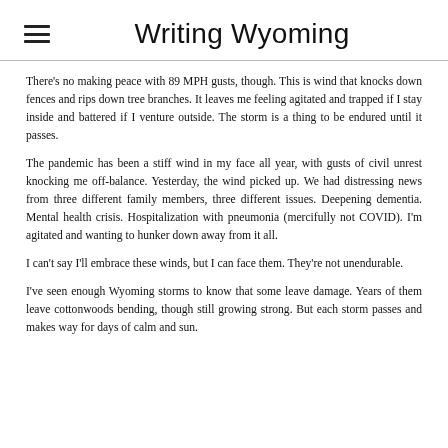Writing Wyoming
There's no making peace with 89 MPH gusts, though. This is wind that knocks down fences and rips down tree branches. It leaves me feeling agitated and trapped if I stay inside and battered if I venture outside. The storm is a thing to be endured until it passes.
The pandemic has been a stiff wind in my face all year, with gusts of civil unrest knocking me off-balance. Yesterday, the wind picked up. We had distressing news from three different family members, three different issues. Deepening dementia. Mental health crisis. Hospitalization with pneumonia (mercifully not COVID). I'm agitated and wanting to hunker down away from it all.
I can't say I'll embrace these winds, but I can face them. They're not unendurable.
I've seen enough Wyoming storms to know that some leave damage. Years of them leave cottonwoods bending, though still growing strong. But each storm passes and makes way for days of calm and sun.